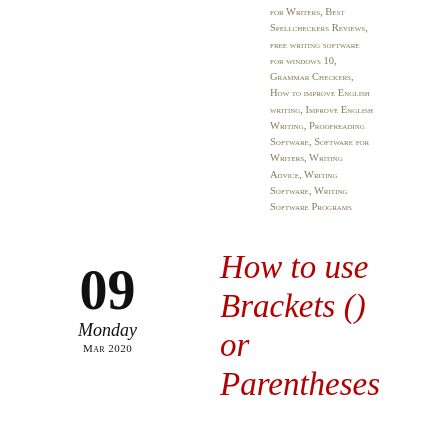for Writers, Best Spellcheckers Reviews, free writing software for windows 10, Grammar Checkers, How to improve English writing, Improve English Writing, Proofreading Software, Software for Writers, Writing Advice, Writing Software, Writing Software Programs
09
Monday
Mar 2020
How to use Brackets () or Parentheses